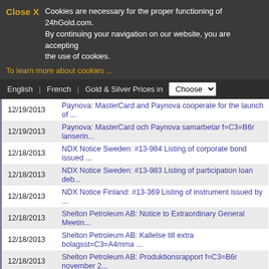Close X   Cookies are necessary for the proper functioning of 24hGold.com. By continuing your navigation on our website, you are accepting the use of cookies.
To learn more about cookies ...
English | French | Gold & Silver Prices in | Choose
12/19/2013  Paynova: MasterCard and Paynova cooperate for the launch of ...
12/19/2013  Paynova: MasterCard och Paynova samarbetar f=C3=B6r lanserin...
12/18/2013  NDX Notice Sweden: #13-984 Listing of corporate bond issued ...
12/18/2013  NDX Notice Sweden: #13-983 Listing of participation loan deb...
12/18/2013  NDX Notice Finland: #13-369 Listing of instrument issued by ...
12/18/2013  Shelton Petroleum AB: Notice to Extraordinary General Meetin...
12/18/2013  Shelton Petroleum AB: Kallelse till extra bolagsst=C3=A4mma ...
12/18/2013  Shelton Petroleum AB: Produktionsrapport f=C3=B6r november 2...
12/18/2013  Shelton Petroleum AB: Comment to the request for conversion
12/17/2013  NDX Notice Sweden: #13-978 Listing of Mini futures issued by...
12/17/2013  NDX Notice Sweden: #13-976 Listing of Turbo warrants issued ...
12/17/2013  NDX Notice Sweden: #13-971 Delisting of instruments issued b...
12/17/2013  Glycorex Transplantation: Nytt patent beviljat i USA samtf=C...
12/17/2013  NDX Notice Finland: #13-364 Recalculating of reference value...
12/17/2013  Sotkamo Silver: KONSTRUKTION AV KRAFTLEDNING TILL SILVERGRU
12/16/2013  NDX Notice Finland: #13-363 Listing of Knock out warrants is...
12/16/2013  NDX Notice Norway: #13-178 Listing of Mini futures issued by...
12/16/2013  Laika Consulting: Laika Consulting IR-unders=C3=B6kning 2013...
12/16/2013  NDX Notice Finland: #13-361 Recalculating of reference value...
12/13/2013  NDX Notice Sweden: #13-966 Delisting of instruments issued b...
12/13/2013  Shelton Petroleum AB: Uppdatering kring Konvertibel 2 och ko...
12/13/2013  Shelton Petroleum AB: Update regarding Convertible 2 and con...